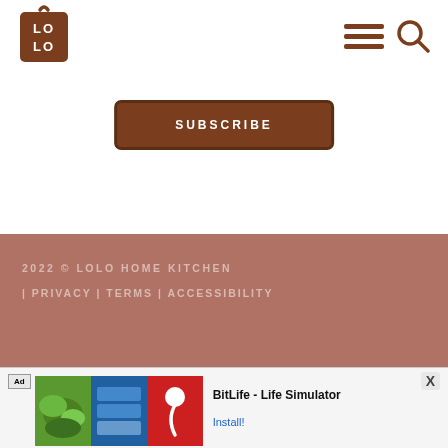[Figure (logo): LOLO cutting board logo — brown square with rounded top, hook/hanging hole at top, white text LO LO]
[Figure (illustration): Hamburger menu icon (three brown horizontal lines) and search/magnifier icon in brown]
SUBSCRIBE
2022 © LOLO HOME KITCHEN | PRIVACY | TERMS | ACCESSIBILITY
[Figure (screenshot): Ad banner — BitLife Life Simulator advertisement with Ad label, green/blue/red game images and Install! button]